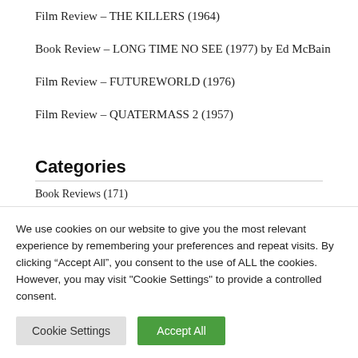Film Review – THE KILLERS (1964)
Book Review – LONG TIME NO SEE (1977) by Ed McBain
Film Review – FUTUREWORLD (1976)
Film Review – QUATERMASS 2 (1957)
Categories
Book Reviews (171)
We use cookies on our website to give you the most relevant experience by remembering your preferences and repeat visits. By clicking “Accept All”, you consent to the use of ALL the cookies. However, you may visit "Cookie Settings" to provide a controlled consent.
Cookie Settings | Accept All